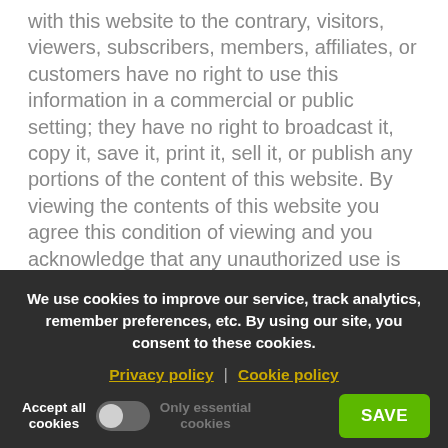with this website to the contrary, visitors, viewers, subscribers, members, affiliates, or customers have no right to use this information in a commercial or public setting; they have no right to broadcast it, copy it, save it, print it, sell it, or publish any portions of the content of this website. By viewing the contents of this website you agree this condition of viewing and you acknowledge that any unauthorized use is unlawful and may subject you to civil or criminal penalties. Again, Visitor has no rights whatsoever to use the content of, or portions thereof, including its databases, invisible pages, linked pages, underlying code, or other intellectual property the site may contain, for any reason for any use whatsoever. Nothing.
We use cookies to improve our service, track analytics, remember preferences, etc. By using our site, you consent to these cookies.
Privacy policy | Cookie policy
Accept all cookies  [toggle]  Only essential cookies  SAVE